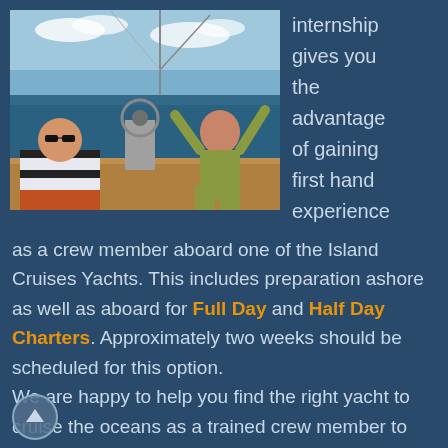[Figure (photo): Two people on a sailboat deck on the ocean. One person wearing striped shirt and sunglasses seated at the helm, another person in green top with arms raised.]
internship gives you the advantage of gaining first hand experience as a crew member aboard one of the Island Cruises Yachts. This includes preparation ashore as well as aboard for Full Day and Half Day Charters. Approximately two weeks should be scheduled for this option.
We are happy to help you find the right yacht to cruise the oceans as a trained crew member to log hundreds of nautical miles.
What you will get: min. 5 days sailing / Logged sea